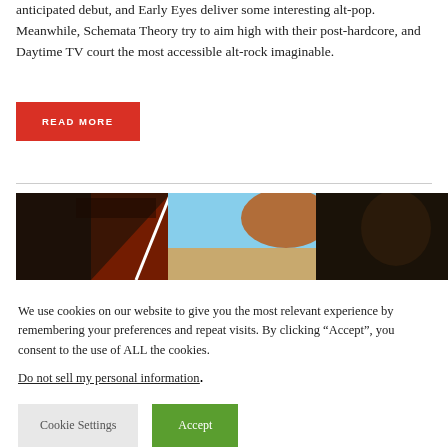anticipated debut, and Early Eyes deliver some interesting alt-pop. Meanwhile, Schemata Theory try to aim high with their post-hardcore, and Daytime TV court the most accessible alt-rock imaginable.
READ MORE
[Figure (photo): Collage of album cover imagery including fantasy/metal artwork and landscape photos]
We use cookies on our website to give you the most relevant experience by remembering your preferences and repeat visits. By clicking “Accept”, you consent to the use of ALL the cookies.
Do not sell my personal information.
Cookie Settings
Accept